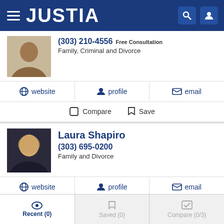JUSTIA
(303) 210-4556 Free Consultation
Family, Criminal and Divorce
website | profile | email
Compare | Save
Laura Shapiro
(303) 695-0200
Family and Divorce
website | profile | email
Compare | Save
Recent (0) | Saved (0) | Compare (0/3)